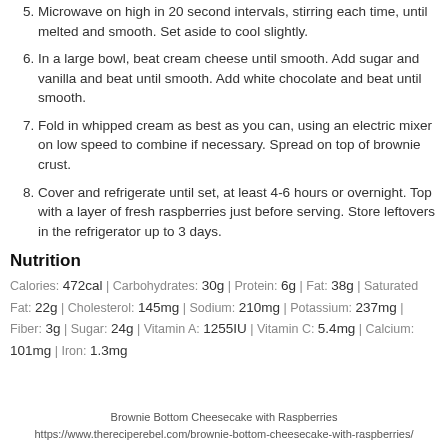Microwave on high in 20 second intervals, stirring each time, until melted and smooth. Set aside to cool slightly.
In a large bowl, beat cream cheese until smooth. Add sugar and vanilla and beat until smooth. Add white chocolate and beat until smooth.
Fold in whipped cream as best as you can, using an electric mixer on low speed to combine if necessary. Spread on top of brownie crust.
Cover and refrigerate until set, at least 4-6 hours or overnight. Top with a layer of fresh raspberries just before serving. Store leftovers in the refrigerator up to 3 days.
Nutrition
Calories: 472cal | Carbohydrates: 30g | Protein: 6g | Fat: 38g | Saturated Fat: 22g | Cholesterol: 145mg | Sodium: 210mg | Potassium: 237mg | Fiber: 3g | Sugar: 24g | Vitamin A: 1255IU | Vitamin C: 5.4mg | Calcium: 101mg | Iron: 1.3mg
Brownie Bottom Cheesecake with Raspberries
https://www.thereciperebel.com/brownie-bottom-cheesecake-with-raspberries/